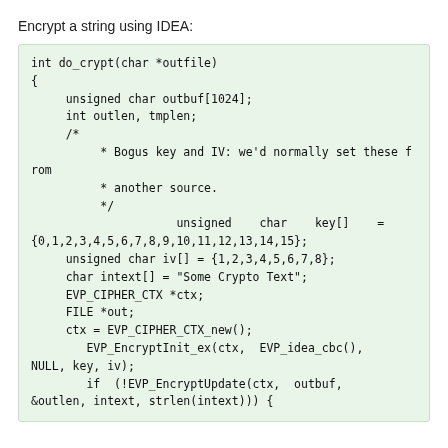Encrypt a string using IDEA:
int do_crypt(char *outfile)
{
    unsigned char outbuf[1024];
    int outlen, tmplen;
    /*
        * Bogus key and IV: we'd normally set these from
        * another source.
        */
                unsigned    char    key[]    =
{0,1,2,3,4,5,6,7,8,9,10,11,12,13,14,15};
    unsigned char iv[] = {1,2,3,4,5,6,7,8};
    char intext[] = "Some Crypto Text";
    EVP_CIPHER_CTX *ctx;
    FILE *out;
    ctx = EVP_CIPHER_CTX_new();
        EVP_EncryptInit_ex(ctx,  EVP_idea_cbc(),
NULL, key, iv);
        if  (!EVP_EncryptUpdate(ctx,  outbuf,
&outlen, intext, strlen(intext))) {